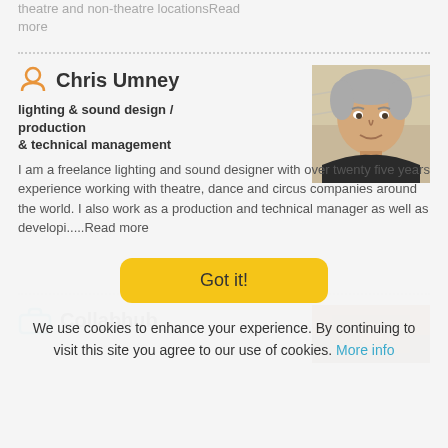theatre and non-theatre locationsRead more
Chris Umney
lighting & sound design / production & technical management
I am a freelance lighting and sound designer with over twenty five years experience working with theatre, dance and circus companies around the world. I also work as a production and technical manager as well as developi.....Read more
[Figure (photo): Headshot photo of Chris Umney, an older man with grey hair]
Collabhub
[Figure (photo): Partial thumbnail image for Collabhub entry]
Got it!
We use cookies to enhance your experience. By continuing to visit this site you agree to our use of cookies. More info